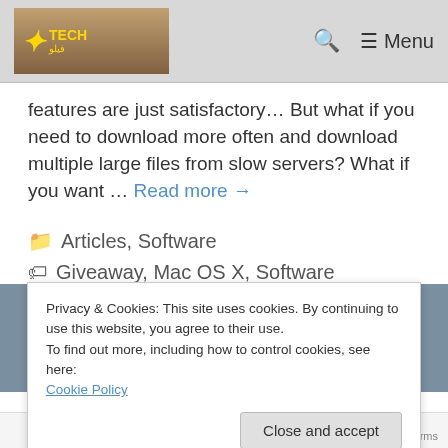Tech Logo | Search | Menu
features are just satisfactory... But what if you need to download more often and download multiple large files from slow servers? What if you want ... Read more →
Articles, Software
Giveaway, Mac OS X, Software
Privacy & Cookies: This site uses cookies. By continuing to use this website, you agree to their use.
To find out more, including how to control cookies, see here:
Cookie Policy
Close and accept
January 31, 2015 · Privacy · Terms